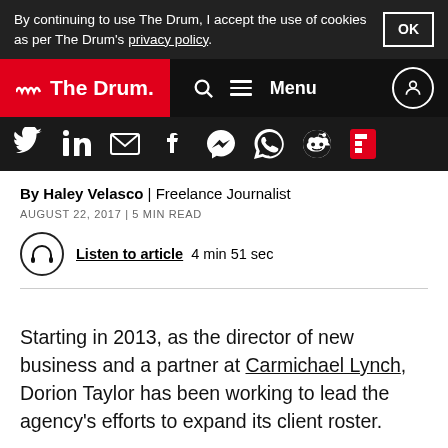By continuing to use The Drum, I accept the use of cookies as per The Drum's privacy policy. OK
[Figure (logo): The Drum logo on red background with navigation bar showing search, menu, and user icons]
[Figure (infographic): Social sharing icons: Twitter, LinkedIn, Email, Facebook, Messenger, WhatsApp, Reddit, Flipboard]
By Haley Velasco | Freelance Journalist
AUGUST 22, 2017 | 5 MIN READ
Listen to article  4 min 51 sec
Starting in 2013, as the director of new business and a partner at Carmichael Lynch, Dorion Taylor has been working to lead the agency's efforts to expand its client roster.
In addition to bringing on new clients, his role at